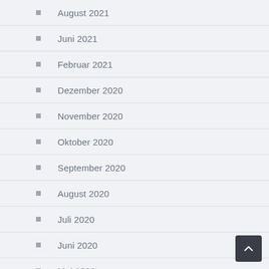August 2021
Juni 2021
Februar 2021
Dezember 2020
November 2020
Oktober 2020
September 2020
August 2020
Juli 2020
Juni 2020
Mai 2020